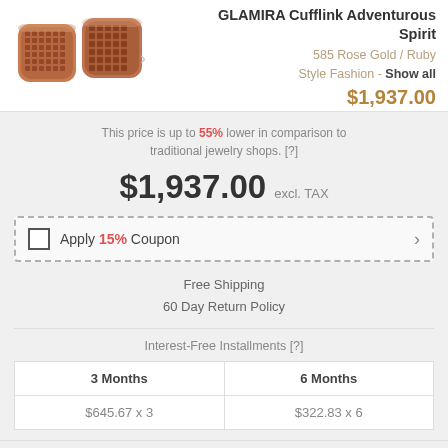[Figure (photo): Two rose gold cufflinks with ruby-studded design]
GLAMIRA Cufflink Adventurous Spirit
585 Rose Gold / Ruby
Style Fashion - Show all
$1,937.00
This price is up to 55% lower in comparison to traditional jewelry shops. [?]
$1,937.00 excl. TAX
Apply 15% Coupon
Free Shipping
60 Day Return Policy
Interest-Free Installments [?]
| 3 Months | 6 Months |
| --- | --- |
| $645.67 x 3 | $322.83 x 6 |
Estimated delivery time: Monday, 05 Sep